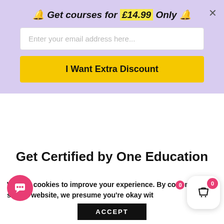🔔 Get courses for £14.99 Only 🔔
Enter your email address here...
I Want Extra Discount
Get Certified by One Education
Earning certificates and showcasing your achievements are equally as important as gaining skills. Keeping this in mind, One Education offers you a handful of certificates accredited by the likes of CPD & IAO along with a certificate of
We use cookies to improve your experience. By continuing to use this website, we presume you're okay with
ACCEPT